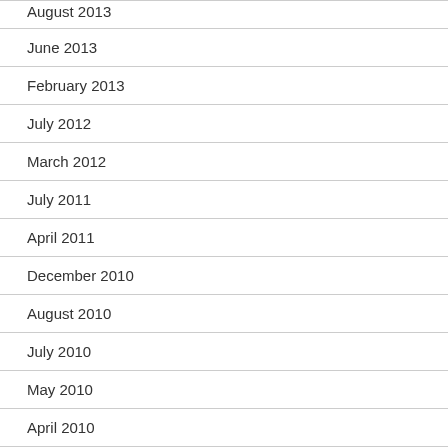August 2013
June 2013
February 2013
July 2012
March 2012
July 2011
April 2011
December 2010
August 2010
July 2010
May 2010
April 2010